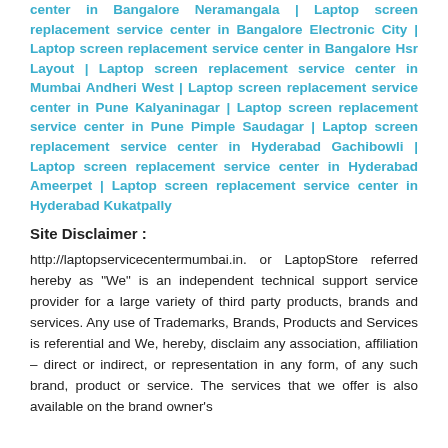center in Bangalore Neramangala | Laptop screen replacement service center in Bangalore Electronic City | Laptop screen replacement service center in Bangalore Hsr Layout | Laptop screen replacement service center in Mumbai Andheri West | Laptop screen replacement service center in Pune Kalyaninagar | Laptop screen replacement service center in Pune Pimple Saudagar | Laptop screen replacement service center in Hyderabad Gachibowli | Laptop screen replacement service center in Hyderabad Ameerpet | Laptop screen replacement service center in Hyderabad Kukatpally
Site Disclaimer :
http://laptopservicecentermumbai.in. or LaptopStore referred hereby as "We" is an independent technical support service provider for a large variety of third party products, brands and services. Any use of Trademarks, Brands, Products and Services is referential and We, hereby, disclaim any association, affiliation – direct or indirect, or representation in any form, of any such brand, product or service. The services that we offer is also available on the brand owner's